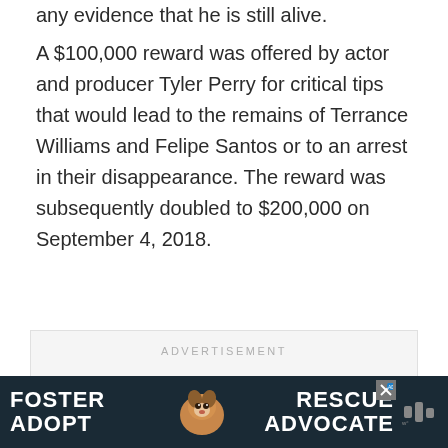any evidence that he is still alive.
A $100,000 reward was offered by actor and producer Tyler Perry for critical tips that would lead to the remains of Terrance Williams and Felipe Santos or to an arrest in their disappearance. The reward was subsequently doubled to $200,000 on September 4, 2018.
ADVERTISEMENT
[Figure (other): Dark banner advertisement with text 'FOSTER ADOPT' on the left, a photo of a beagle dog in the center, and 'RESCUE ADVOCATE' on the right, with a close button and a Wondery logo.]